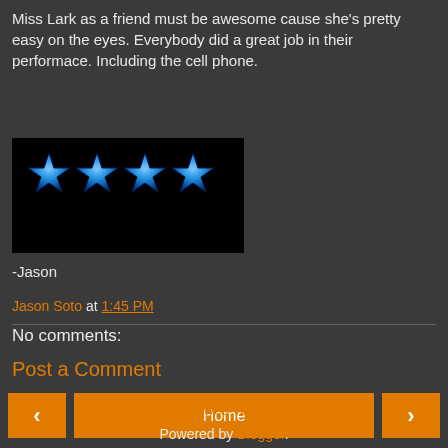Miss Lark as a friend must be awesome cause she's pretty easy on the eyes. Everybody did a great job in their performace. Including the cell phone.
[Figure (other): Four blue glowing star rating icons on a black background]
-Jason
Jason Soto at 1:45 PM
No comments:
Post a Comment
Home
View web version
Powered by Blogger.